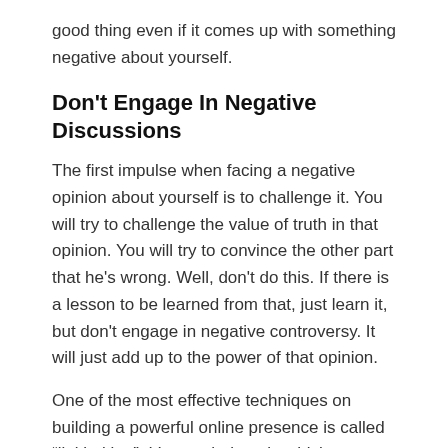good thing even if it comes up with something negative about yourself.
Don't Engage In Negative Discussions
The first impulse when facing a negative opinion about yourself is to challenge it. You will try to challenge the value of truth in that opinion. You will try to convince the other part that he's wrong. Well, don't do this. If there is a lesson to be learned from that, just learn it, but don't engage in negative controversy. It will just add up to the power of that opinion.
One of the most effective techniques on building a powerful online presence is called “linkbaiting”. It’s a technique in which you gain popularity by talking